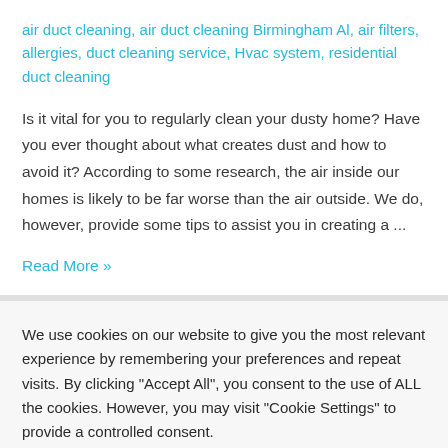air duct cleaning, air duct cleaning Birmingham Al, air filters, allergies, duct cleaning service, Hvac system, residential duct cleaning
Is it vital for you to regularly clean your dusty home? Have you ever thought about what creates dust and how to avoid it? According to some research, the air inside our homes is likely to be far worse than the air outside. We do, however, provide some tips to assist you in creating a ...
Read More »
We use cookies on our website to give you the most relevant experience by remembering your preferences and repeat visits. By clicking "Accept All", you consent to the use of ALL the cookies. However, you may visit "Cookie Settings" to provide a controlled consent.